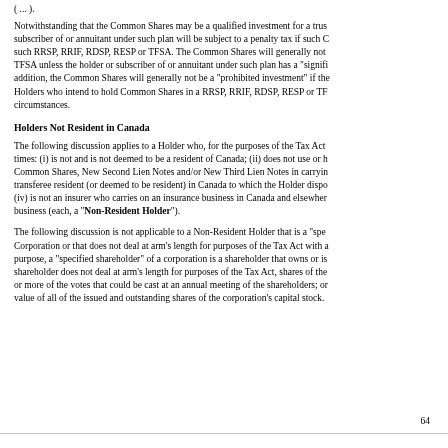( ... ).
Notwithstanding that the Common Shares may be a qualified investment for a trust governed by a RRSP, RRIF, RDSP, RESP or TFSA, the holder or subscriber of or annuitant under such plan will be subject to a penalty tax if such Common Shares are a "prohibited investment" for such RRSP, RRIF, RDSP, RESP or TFSA. The Common Shares will generally not be a "prohibited investment" for a RRSP, RRIF, RDSP, RESP or TFSA unless the holder or subscriber of or annuitant under such plan has a "significant interest" (as defined in the Tax Act) in us. In addition, the Common Shares will generally not be a "prohibited investment" if the Common Shares are "excluded property" (as defined in the Tax Act). Holders who intend to hold Common Shares in a RRSP, RRIF, RDSP, RESP or TFSA should consult their own tax advisors regarding their particular circumstances.
Holders Not Resident in Canada
The following discussion applies to a Holder who, for the purposes of the Tax Act and any applicable income tax treaty or convention, at all relevant times: (i) is not and is not deemed to be a resident of Canada; (ii) does not use or hold, and is not deemed to use or hold, the Common Shares, New Second Lien Notes and/or New Third Lien Notes in carrying on a business in Canada; (iii) deals at arm's length with any transferee resident (or deemed to be resident) in Canada to which the Holder disposes of the Common Shares, New Second Lien Notes and/or New Third Lien Notes; (iv) is not an insurer who carries on an insurance business in Canada and elsewhere; and (v) is not a "specified shareholder" of a non-resident business (each, a "Non-Resident Holder").
The following discussion is not applicable to a Non-Resident Holder that is a "specified financial institution" or a "restricted financial institution" within the meaning of the Tax Act, or to a Non-Resident Holder that holds Common Shares as part of a "dividend rental arrangement" as defined in the Tax Act, or that holds Common Shares in an entity that is a "foreign affiliate" as defined in the Tax Act. Corporation or that does not deal at arm's length for purposes of the Tax Act with a specified shareholder of the Corporation. For this purpose, a "specified shareholder" of a corporation is a shareholder that owns or is deemed to own, either alone or together with persons with whom the shareholder does not deal at arm's length for purposes of the Tax Act, shares of the corporation that represent 25% or more of the paid-up capital, or 25% or more of the votes that could be cast at an annual meeting of the shareholders; or shares of the corporation having a fair market value equal to 25% or more of the fair market value of all of the issued and outstanding shares of the corporation's capital stock.
64